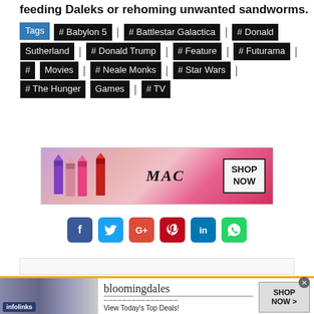feeding Daleks or rehoming unwanted sandworms.
Tags  # Babylon 5  # Battlestar Galactica  # Donald Sutherland  # Donald Trump  # Feature  # Futurama  # Movies  # Neale Monks  # Star Wars  # The Hunger Games  # TV
[Figure (photo): MAC cosmetics advertisement showing lipsticks with SHOP NOW button]
[Figure (infographic): Social media share buttons: Facebook, Twitter, Google+, Pinterest, LinkedIn, WhatsApp]
[Figure (photo): Infolinks advertisement showing people]
[Figure (photo): Bloomingdales advertisement: bloomingdales, View Today's Top Deals! SHOP NOW >]